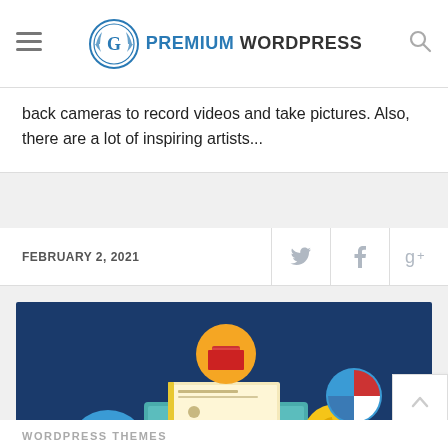Premium WordPress
back cameras to record videos and take pictures. Also, there are a lot of inspiring artists...
FEBRUARY 2, 2021
[Figure (illustration): Illustration of a WordPress website on a desktop monitor surrounded by icons for books, gears, documents, coffee cup, checkmark, and other web design elements on a dark blue background]
WORDPRESS THEMES